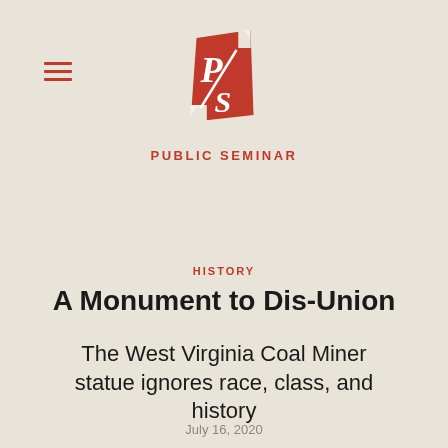[Figure (logo): Public Seminar logo — stylized red scroll shape with letters P and S in white, stacked diagonally]
PUBLIC SEMINAR
HISTORY
A Monument to Dis-Union
The West Virginia Coal Miner statue ignores race, class, and history
July 16, 2020